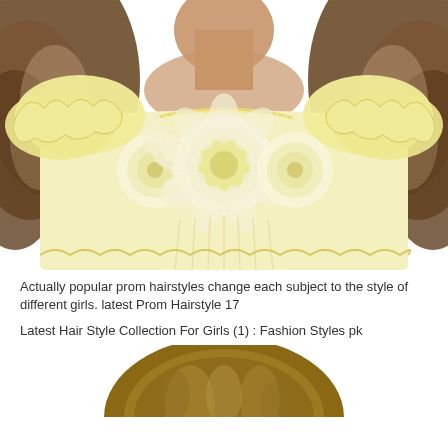[Figure (photo): A young woman with long curly brown highlighted hair, wearing a pale yellow dress with ruffled shoulders and large fabric rosette decorations on the chest, photographed from shoulders up against a white background.]
Actually popular prom hairstyles change each subject to the style of different girls. latest Prom Hairstyle 17
Latest Hair Style Collection For Girls (1) : Fashion Styles pk
[Figure (photo): Top of a woman's head showing an updo or styled hair with brown and blonde highlights, viewed from slightly above.]